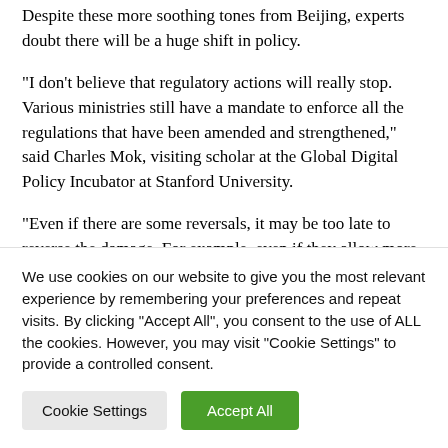Despite these more soothing tones from Beijing, experts doubt there will be a huge shift in policy.
"I don't believe that regulatory actions will really stop. Various ministries still have a mandate to enforce all the regulations that have been amended and strengthened," said Charles Mok, visiting scholar at the Global Digital Policy Incubator at Stanford University.
"Even if there are some reversals, it may be too late to reverse the damage. For example, even if they allow more listings overseas, the investor confidence is already lost, and
We use cookies on our website to give you the most relevant experience by remembering your preferences and repeat visits. By clicking “Accept All”, you consent to the use of ALL the cookies. However, you may visit "Cookie Settings" to provide a controlled consent.